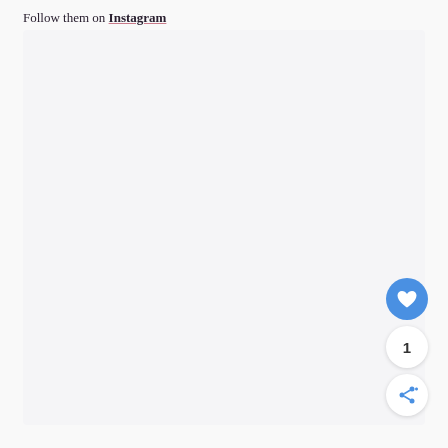Follow them on Instagram
[Figure (screenshot): Large light gray empty content area below the text]
[Figure (infographic): Blue circular like (heart) button, a count badge showing 1, and a share button with network icon — social interaction UI elements positioned at right side]